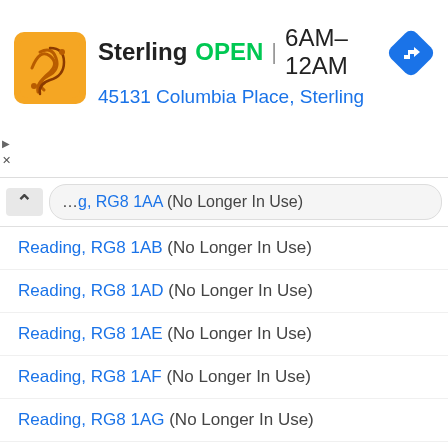Sterling   OPEN   6AM–12AM   45131 Columbia Place, Sterling
Reading, RG8 1AA (No Longer In Use)
Reading, RG8 1AB (No Longer In Use)
Reading, RG8 1AD (No Longer In Use)
Reading, RG8 1AE (No Longer In Use)
Reading, RG8 1AF (No Longer In Use)
Reading, RG8 1AG (No Longer In Use)
Reading, RG8 1AH (No Longer In Use)
Reading, RG8 1AJ (No Longer In Use)
Reading, RG8 1AL (No Longer In Use)
Reading, RG8 1AN (No Longer In Use)
Reading, RG8 1AP (No Longer In Use)
Reading, RG8 1AQ (No Longer In Use)